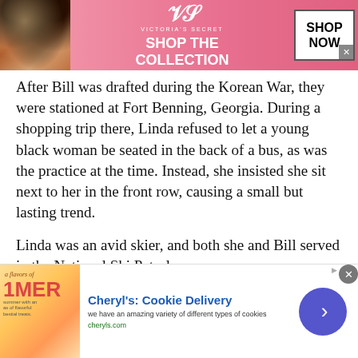[Figure (advertisement): Victoria's Secret advertisement banner with model, VS logo, 'SHOP THE COLLECTION' text, and 'SHOP NOW' button on pink background]
After Bill was drafted during the Korean War, they were stationed at Fort Benning, Georgia. During a shopping trip there, Linda refused to let a young black woman be seated in the back of a bus, as was the practice at the time. Instead, she insisted she sit next to her in the front row, causing a small but lasting trend.
Linda was an avid skier, and both she and Bill served in the National Ski Patrol.
[Figure (advertisement): Cheryl's Cookie Delivery advertisement with summer cookie product image, title 'Cheryl's: Cookie Delivery', description 'we have an amazing variety of different types of cookies', URL 'cheryls.com', and blue circular arrow button]